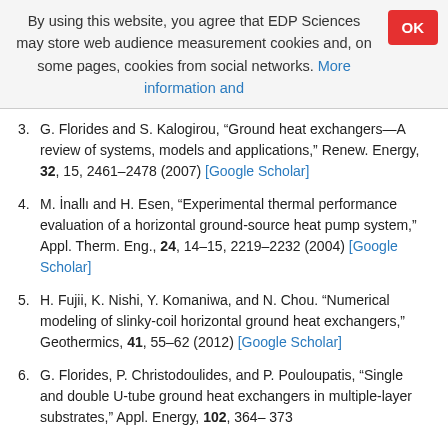By using this website, you agree that EDP Sciences may store web audience measurement cookies and, on some pages, cookies from social networks. More information and
3. G. Florides and S. Kalogirou, “Ground heat exchangers—A review of systems, models and applications,” Renew. Energy, 32, 15, 2461–2478 (2007) [Google Scholar]
4. M. İnallı and H. Esen, “Experimental thermal performance evaluation of a horizontal ground-source heat pump system,” Appl. Therm. Eng., 24, 14–15, 2219–2232 (2004) [Google Scholar]
5. H. Fujii, K. Nishi, Y. Komaniwa, and N. Chou. “Numerical modeling of slinky-coil horizontal ground heat exchangers,” Geothermics, 41, 55–62 (2012) [Google Scholar]
6. G. Florides, P. Christodoulides, and P. Pouloupatis, “Single and double U-tube ground heat exchangers in multiple-layer substrates,” Appl. Energy, 102, 364– 373